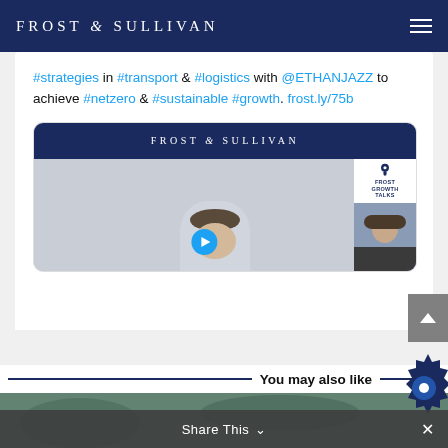FROST & SULLIVAN
#strategies in #transport & #logistics with @ETHANJAZZ to achieve #netzero & #sustainable #growth. frost.ly/75b
[Figure (screenshot): Frost & Sullivan embedded video thumbnail showing a Frost Growth Talks webinar with a speaker visible and a secondary participant in the corner]
You may also like
[Figure (photo): Bottom partial photo strip showing a blurred outdoor or product scene]
Share This